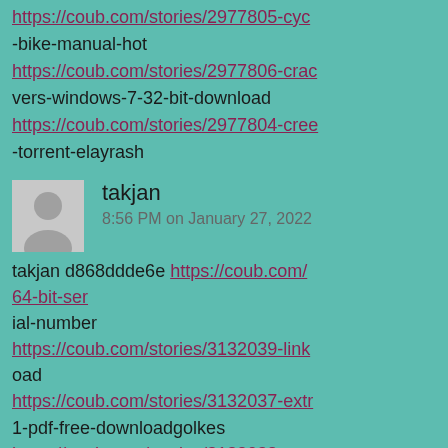https://coub.com/stories/2977805-cyc -bike-manual-hot https://coub.com/stories/2977806-crac vers-windows-7-32-bit-download https://coub.com/stories/2977804-cree -torrent-elayrash
takjan
8:56 PM on January 27, 2022
takjan d868ddde6e https://coub.com/ 64-bit-ser ial-number https://coub.com/stories/3132039-link oad https://coub.com/stories/3132037-extr 1-pdf-free-downloadgolkes https://coub.com/stories/3132038-exp nicalheatpumpexperimentpdf-meibro https://coub.com/stories/3132036-boja